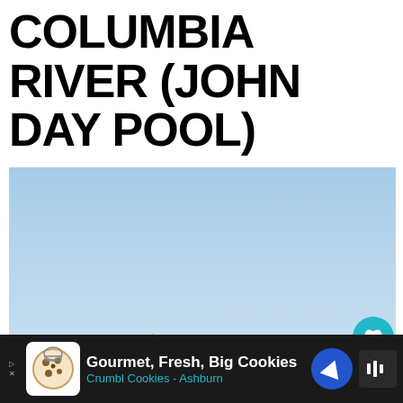COLUMBIA RIVER (JOHN DAY POOL)
[Figure (photo): A motorboat cruising on the Columbia River (John Day Pool) with a flat, arid landscape and blue sky in the background. Overlaid with a heart/like button (teal circle with heart icon), a count of 1, a share button, and a 'What's Next' card showing 'Fishing in Multnomah...' with a thumbnail of a fisherman.]
WHAT'S NEXT → Fishing in Multnomah...
Gourmet, Fresh, Big Cookies Crumbl Cookies - Ashburn